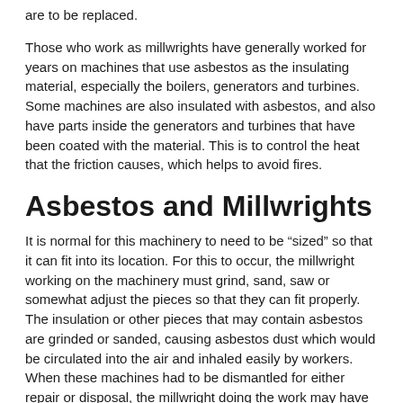are to be replaced.
Those who work as millwrights have generally worked for years on machines that use asbestos as the insulating material, especially the boilers, generators and turbines. Some machines are also insulated with asbestos, and also have parts inside the generators and turbines that have been coated with the material. This is to control the heat that the friction causes, which helps to avoid fires.
Asbestos and Millwrights
It is normal for this machinery to need to be “sized” so that it can fit into its location. For this to occur, the millwright working on the machinery must grind, sand, saw or somewhat adjust the pieces so that they can fit properly. The insulation or other pieces that may contain asbestos are grinded or sanded, causing asbestos dust which would be circulated into the air and inhaled easily by workers.  When these machines had to be dismantled for either repair or disposal, the millwright doing the work may have easily been exposed to friable asbestos, or damaged asbestos, because these particles crumble easily, producing airborne dust.